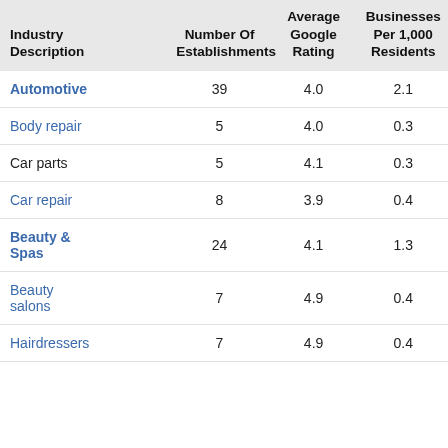| Industry Description | Number Of Establishments | Average Google Rating | Businesses Per 1,000 Residents |
| --- | --- | --- | --- |
| Automotive | 39 | 4.0 | 2.1 |
| Body repair | 5 | 4.0 | 0.3 |
| Car parts | 5 | 4.1 | 0.3 |
| Car repair | 8 | 3.9 | 0.4 |
| Beauty & Spas | 24 | 4.1 | 1.3 |
| Beauty salons | 7 | 4.9 | 0.4 |
| Hairdressers | 7 | 4.9 | 0.4 |